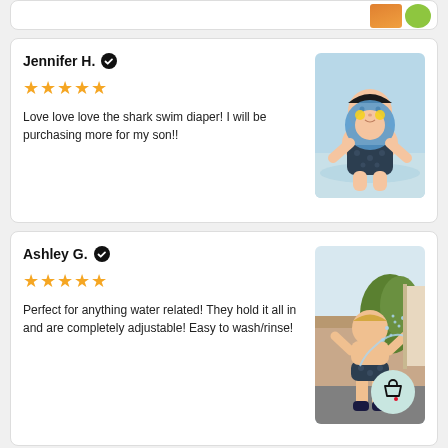[Figure (photo): Partial view of product images at top of page - orange and green items]
Jennifer H. ✓
[Figure (other): Five gold stars rating]
Love love love the shark swim diaper! I will be purchasing more for my son!!
[Figure (photo): Baby wearing shark swim diaper floating in pool with neck float ring]
Ashley G. ✓
[Figure (other): Five gold stars rating]
Perfect for anything water related! They hold it all in and are completely adjustable! Easy to wash/rinse!
[Figure (photo): Toddler wearing shark swim diaper playing with sprinkler water outdoors, with shopping bag with heart icon overlay]